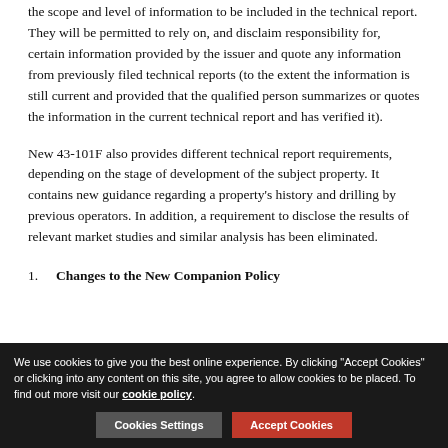the scope and level of information to be included in the technical report. They will be permitted to rely on, and disclaim responsibility for, certain information provided by the issuer and quote any information from previously filed technical reports (to the extent the information is still current and provided that the qualified person summarizes or quotes the information in the current technical report and has verified it).
New 43-101F also provides different technical report requirements, depending on the stage of development of the subject property. It contains new guidance regarding a property's history and drilling by previous operators. In addition, a requirement to disclose the results of relevant market studies and similar analysis has been eliminated.
1. Changes to the New Companion Policy
We use cookies to give you the best online experience. By clicking "Accept Cookies" or clicking into any content on this site, you agree to allow cookies to be placed. To find out more visit our cookie policy.